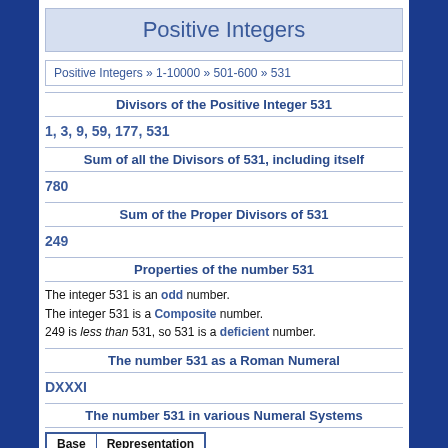Positive Integers
Positive Integers » 1-10000 » 501-600 » 531
Divisors of the Positive Integer 531
1, 3, 9, 59, 177, 531
Sum of all the Divisors of 531, including itself
780
Sum of the Proper Divisors of 531
249
Properties of the number 531
The integer 531 is an odd number. The integer 531 is a Composite number. 249 is less than 531, so 531 is a deficient number.
The number 531 as a Roman Numeral
DXXXI
The number 531 in various Numeral Systems
| Base | Representation |
| --- | --- |
| 2: | 1000010011 |